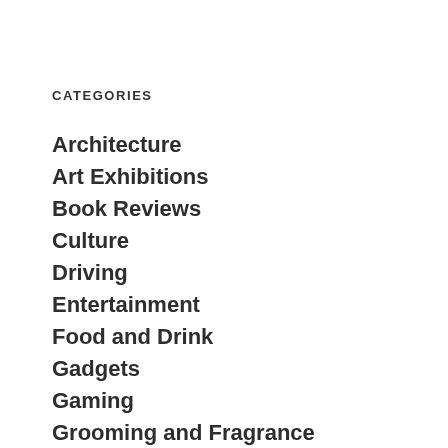CATEGORIES
Architecture
Art Exhibitions
Book Reviews
Culture
Driving
Entertainment
Food and Drink
Gadgets
Gaming
Grooming and Fragrance